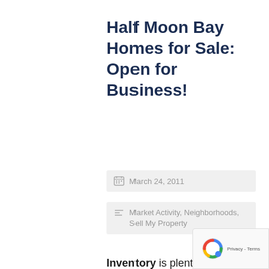Half Moon Bay Homes for Sale: Open for Business!
March 24, 2011
Market Activity, Neighborhoods, Sell My Property
Inventory is plentiful on the San Mateo County Coastside!  In fact, a couple areas of Half Moon Bay are opportunities for buyers!  With the highest level of inventory that any veteran Realtor might recall, Ocean Colony currently has 23 active listings!  The other area with a lot to